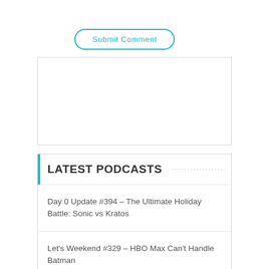Submit Comment
[Figure (other): Empty text area input box with light gray border]
LATEST PODCASTS
Day 0 Update #394 – The Ultimate Holiday Battle: Sonic vs Kratos
Let's Weekend #329 – HBO Max Can't Handle Batman
Day 0 Update #393 – Middle-Earth Has Been Embraced